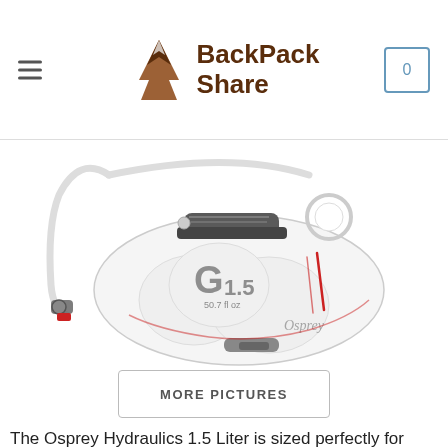BackPack Share
[Figure (photo): Osprey Hydraulics 1.5 Liter hydration reservoir/water bladder with drinking tube and bite valve, translucent white with red accents and grey cap]
MORE PICTURES
The Osprey Hydraulics 1.5 Liter is sized perfectly for